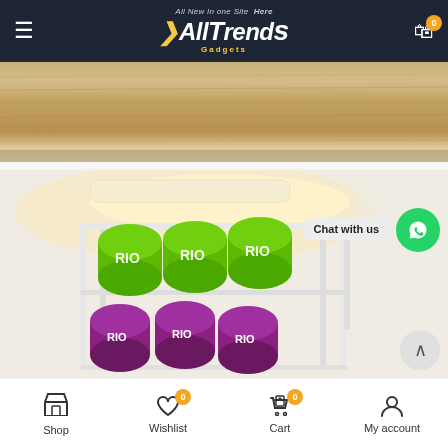All Trends Here Gadgets - navigation header with hamburger menu and cart
[Figure (photo): Wood texture surface - top portion of product image showing wooden shelf or surface]
[Figure (photo): Can organizer/dispenser rack holding multiple green and purple beverage cans inside a refrigerator, with warm under-cabinet lighting from above]
Shop | Wishlist (0) | Cart (0) | My account - bottom navigation bar